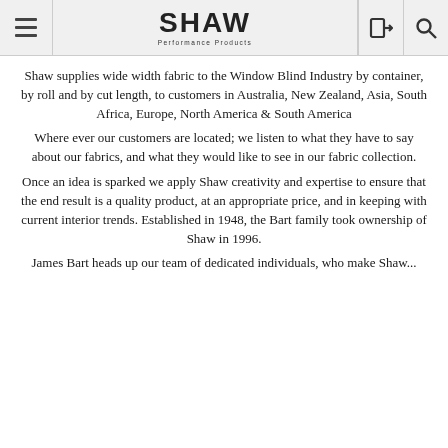SHAW Performance Products
Shaw supplies wide width fabric to the Window Blind Industry by container, by roll and by cut length, to customers in Australia, New Zealand, Asia, South Africa, Europe, North America & South America
Where ever our customers are located; we listen to what they have to say about our fabrics, and what they would like to see in our fabric collection.
Once an idea is sparked we apply Shaw creativity and expertise to ensure that the end result is a quality product, at an appropriate price, and in keeping with current interior trends. Established in 1948, the Bart family took ownership of Shaw in 1996.
James Bart heads up our team of dedicated individuals, who make Shaw...